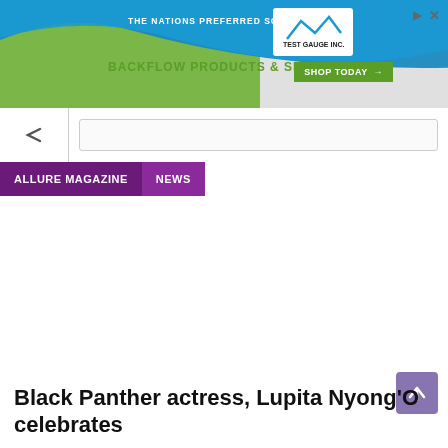[Figure (advertisement): Test Gauge Inc. banner ad: 'The Nation's Preferred Source For Backflow Products & Services' with green and blue wave design, Shop Today button]
ALLURE MAGAZINE  NEWS
Black Panther actress, Lupita Nyong'O celebrates